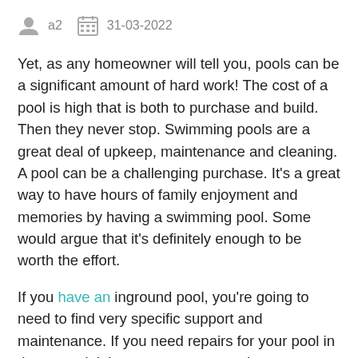a2   31-03-2022
Yet, as any homeowner will tell you, pools can be a significant amount of hard work! The cost of a pool is high that is both to purchase and build. Then they never stop. Swimming pools are a great deal of upkeep, maintenance and cleaning. A pool can be a challenging purchase. It’s a great way to have hours of family enjoyment and memories by having a swimming pool. Some would argue that it’s definitely enough to be worth the effort.
If you have an inground pool, you’re going to need to find very specific support and maintenance. If you need repairs for your pool in the ground, it is necessary to search at companies that specialize in “round-pool maintenance”. An inground pool differs in a lot of ways in comparison to an aboveground pool which is why you must locate a contractor